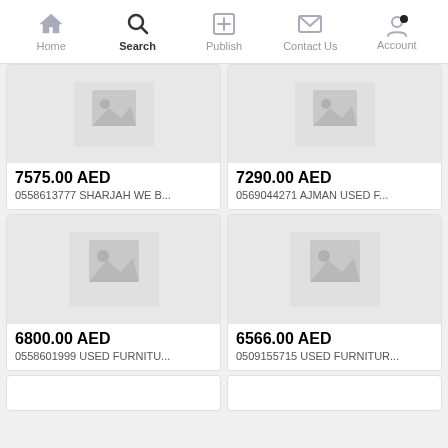Home | Search | Publish | Contact Us | Account
7575.00 AED
0558613777 SHARJAH WE B...
7290.00 AED
0569044271 AJMAN USED F...
6800.00 AED
0558601999 USED FURNITU...
6566.00 AED
0509155715 USED FURNITUR...